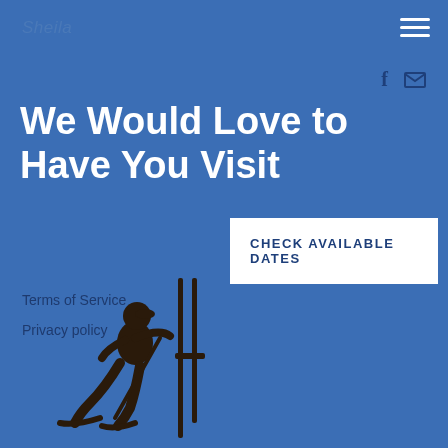Sheila
f  ✉
We Would Love to Have You Visit
CHECK AVAILABLE DATES
Terms of Service
Privacy policy
[Figure (illustration): Silhouette of a person sitting in a chair with ski poles, dark brown color on blue background]